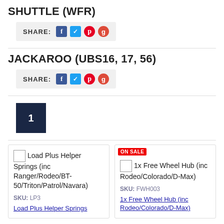SHUTTLE (WFR)
[Figure (infographic): Share bar with Facebook, Twitter, Pinterest, Google+ icons]
JACKAROO (UBS16, 17, 56)
[Figure (infographic): Share bar with Facebook, Twitter, Pinterest, Google+ icons]
[Figure (infographic): Pagination button showing number 1 on dark navy background]
Load Plus Helper Springs (inc Ranger/Rodeo/BT-50/Triton/Patrol/Navara)
SKU: LP3
Load Plus Helper Springs
ON SALE
1x Free Wheel Hub (inc Rodeo/Colorado/D-Max)
SKU: FWH003
1x Free Wheel Hub (inc Rodeo/Colorado/D-Max)